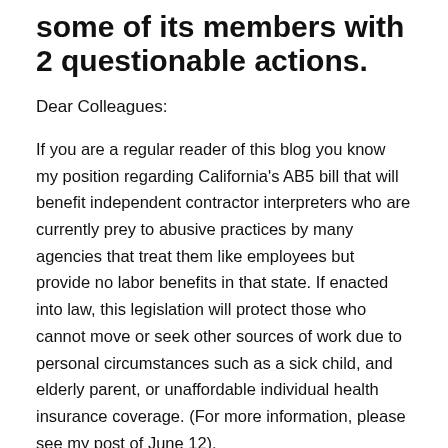some of its members with 2 questionable actions.
Dear Colleagues:
If you are a regular reader of this blog you know my position regarding California's AB5 bill that will benefit independent contractor interpreters who are currently prey to abusive practices by many agencies that treat them like employees but provide no labor benefits in that state. If enacted into law, this legislation will protect those who cannot move or seek other sources of work due to personal circumstances such as a sick child, and elderly parent, or unaffordable individual health insurance coverage. (For more information, please see my post of June 12).